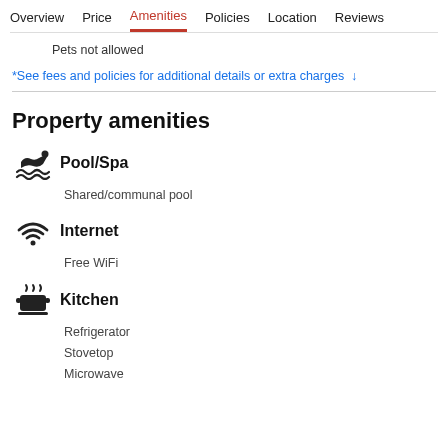Overview  Price  Amenities  Policies  Location  Reviews
Pets not allowed
*See fees and policies for additional details or extra charges ↓
Property amenities
Pool/Spa
Shared/communal pool
Internet
Free WiFi
Kitchen
Refrigerator
Stovetop
Microwave